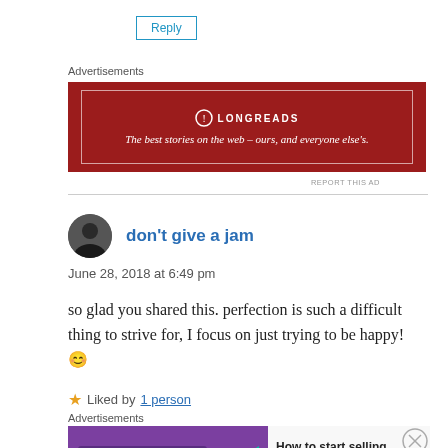Reply
Advertisements
[Figure (illustration): Longreads advertisement banner - dark red background with white border, Longreads logo and tagline 'The best stories on the web - ours, and everyone else's.']
REPORT THIS AD
don't give a jam
June 28, 2018 at 6:49 pm
so glad you shared this. perfection is such a difficult thing to strive for, I focus on just trying to be happy! 😊
Liked by 1 person
Advertisements
[Figure (illustration): WooCommerce advertisement - purple and white background with WooCommerce logo and text 'How to start selling subscriptions online']